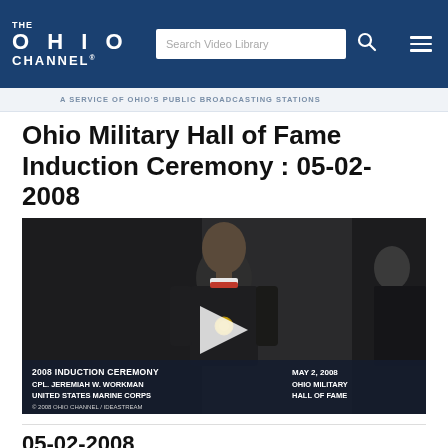THE OHIO CHANNEL - A SERVICE OF OHIO'S PUBLIC BROADCASTING STATIONS
Ohio Military Hall of Fame Induction Ceremony : 05-02-2008
[Figure (screenshot): Video thumbnail showing a Marine in dress uniform wearing a medal at the 2008 Ohio Military Hall of Fame Induction Ceremony. Lower-third caption reads: '2008 INDUCTION CEREMONY / CPL. JEREMIAH W. WORKMAN / UNITED STATES MARINE CORPS / MAY 2, 2008 / OHIO MILITARY HALL OF FAME'. A play button overlay is visible in the center. Copyright text: '2008 OHIO CHANNEL / IDEASTREAM'.]
05-02-2008